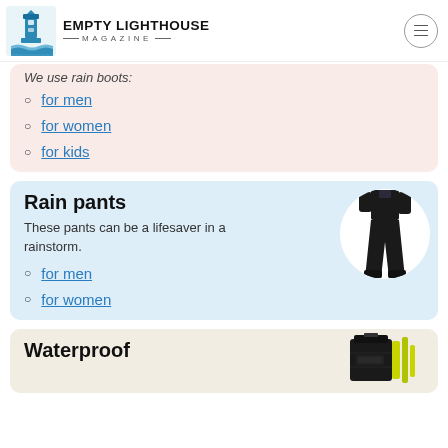EMPTY LIGHTHOUSE MAGAZINE
for men
for women
for kids
Rain pants
These pants can be a lifesaver in a rainstorm.
[Figure (photo): Person wearing black rain pants]
for men
for women
Waterproof
[Figure (photo): Waterproof bag and yellow straps]